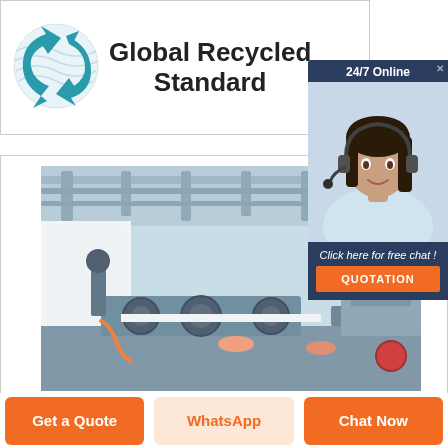[Figure (logo): Global Recycled Standard logo with teal recycling arrow globe icon and bold text 'Global Recycled Standard']
[Figure (photo): Industrial printing/paper manufacturing machinery in a factory, showing rollers, paper sheets, mechanical arms and equipment]
[Figure (infographic): Live chat widget overlay showing a female customer service agent wearing headset, with '24/7 Online' header, 'Click here for free chat!' call to action, and orange QUOTATION button]
Get a Quote
WhatsApp
Chat Now